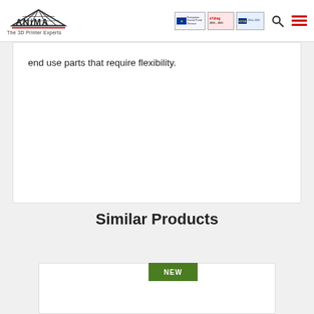ANIMA — The 3D Printer Experts
end use parts that require flexibility.
Similar Products
[Figure (other): Product card with NEW badge in green]